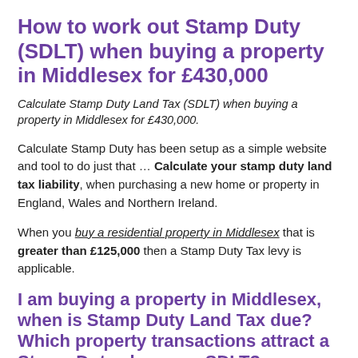How to work out Stamp Duty (SDLT) when buying a property in Middlesex for £430,000
Calculate Stamp Duty Land Tax (SDLT) when buying a property in Middlesex for £430,000.
Calculate Stamp Duty has been setup as a simple website and tool to do just that ... Calculate your stamp duty land tax liability, when purchasing a new home or property in England, Wales and Northern Ireland.
When you buy a residential property in Middlesex that is greater than £125,000 then a Stamp Duty Tax levy is applicable.
I am buying a property in Middlesex, when is Stamp Duty Land Tax due? Which property transactions attract a Stamp Duty charge or SDLT?
Stamp Duty is due and payable if you:
buy freehold or leasehold property in Middlesex...